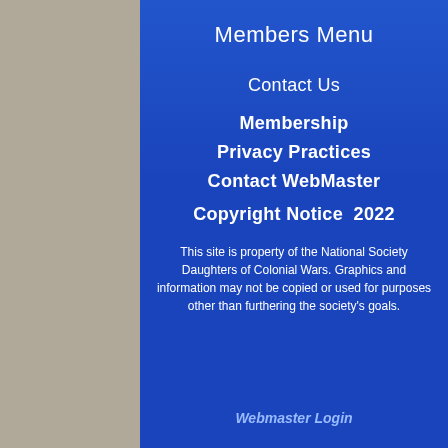Members Menu
Contact Us
Membership
Privacy Practices
Contact WebMaster
Copyright Notice  2022
This site is property of the National Society Daughters of Colonial Wars. Graphics and information may not be copied or used for purposes other than furthering the society's goals.
Webmaster Login